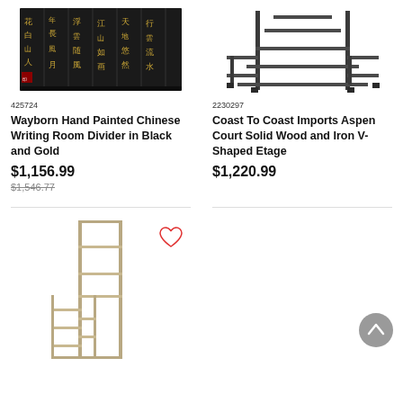[Figure (photo): Wayborn hand painted Chinese writing room divider/folding screen in black with gold Chinese calligraphy]
425724
Wayborn Hand Painted Chinese Writing Room Divider in Black and Gold
$1,156.99
$1,546.77
[Figure (photo): Coast To Coast Imports Aspen Court Solid Wood and Iron V-Shaped Etagere bookshelf in dark finish]
2230297
Coast To Coast Imports Aspen Court Solid Wood and Iron V-Shaped Etage
$1,220.99
[Figure (photo): Tall metal frame etagere/bookshelf with wood shelves in asymmetric design]
[Figure (illustration): Red outline heart icon (favorite/wishlist button)]
[Figure (illustration): Grey circular back-to-top arrow button]